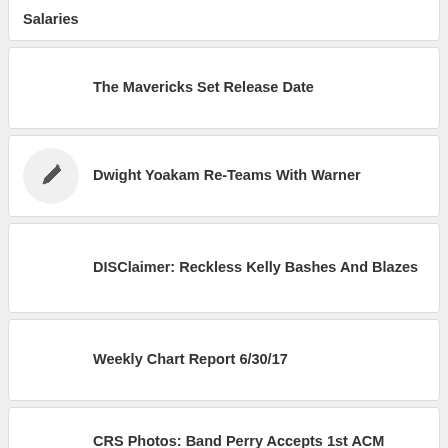Salaries
The Mavericks Set Release Date
Dwight Yoakam Re-Teams With Warner
DISClaimer: Reckless Kelly Bashes And Blazes
Weekly Chart Report 6/30/17
CRS Photos: Band Perry Accepts 1st ACM Award